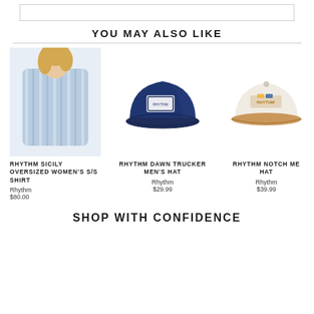[Figure (other): Top decorative box/image placeholder at top of page]
YOU MAY ALSO LIKE
[Figure (photo): Woman wearing a blue and white striped oversized button-up shirt over a bikini]
[Figure (photo): Navy blue trucker hat with embroidered patch logo]
[Figure (photo): White/cream and tan structured cap with Rhythm logo embroidery]
RHYTHM SICILY OVERSIZED WOMEN'S S/S SHIRT
Rhythm
$80.00
RHYTHM DAWN TRUCKER MEN'S HAT
Rhythm
$29.99
RHYTHM NOTCH ME HAT
Rhythm
$39.99
SHOP WITH CONFIDENCE